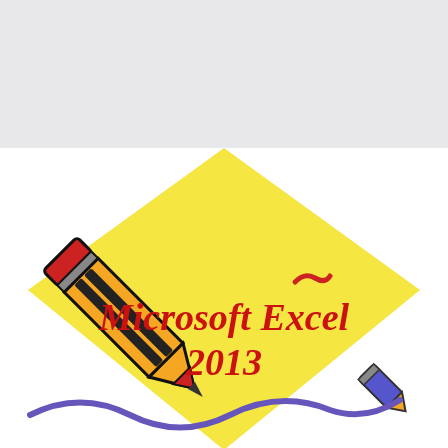[Figure (illustration): Cover page illustration for Microsoft Excel 2013. A light gray banner fills the top quarter. Below, a large yellow diamond/rhombus shape sits on a white background. A large pencil (orange/yellow body, red tip, black outline) is drawn diagonally across the upper-left area of the yellow diamond, with a small red squiggly line at its tip. Text 'Microsoft Excel 2013' is written in red italic script on the yellow diamond. A small blue/purple marker pen is drawn in the lower-right corner, with a blue wavy squiggly line extending from it across the bottom of the image.]